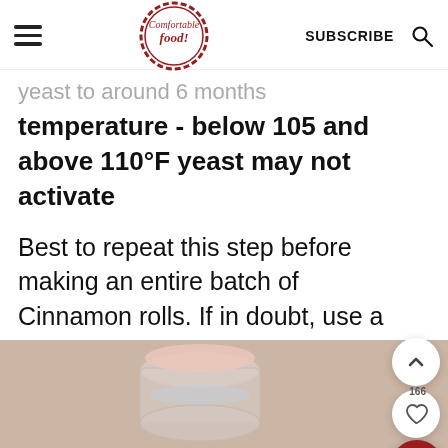Comfortable food — SUBSCRIBE
yeast to around 6 months temperature - below 105 and above 110°F yeast may not activate
Best to repeat this step before making an entire batch of Cinnamon rolls. If in doubt, use a thermometer to check the temperature.
[Figure (photo): Hand holding a glass measuring cup with liquid, food preparation scene]